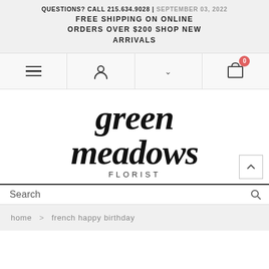QUESTIONS? CALL 215.634.9028 | SEPTEMBER 03, 2022 FREE SHIPPING ON ONLINE ORDERS OVER $200 SHOP NEW ARRIVALS
[Figure (logo): Green Meadows Florist logo in italic script font with 'green meadows' in large decorative text and 'FLORIST' in spaced small caps beneath]
Search
home > french happy birthday